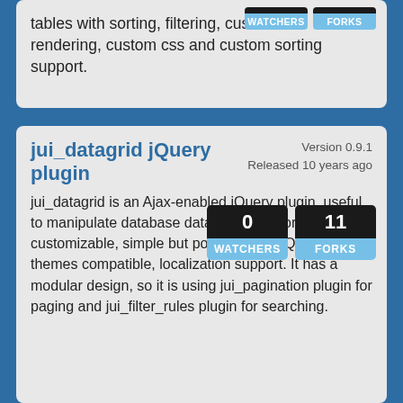tables with sorting, filtering, custom cell rendering, custom css and custom sorting support.
jui_datagrid jQuery plugin
Version 0.9.1
Released 10 years ago
jui_datagrid is an Ajax-enabled jQuery plugin, useful to manipulate database data in tabular format. Fully customizable, simple but powerful API, jQuery themes compatible, localization support. It has a modular design, so it is using jui_pagination plugin for paging and jui_filter_rules plugin for searching.
[Figure (infographic): Two badge widgets: WATCHERS showing 0 and FORKS showing 11, each with a dark number section on top and a blue label section below.]